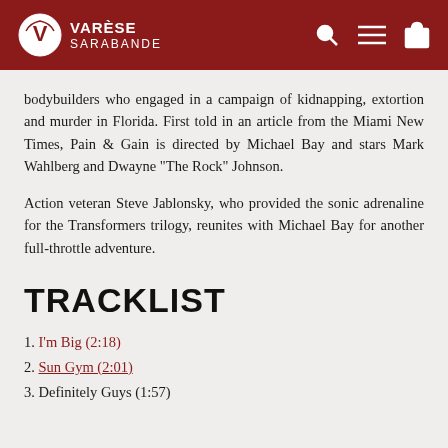VARÈSE SARABANDE
bodybuilders who engaged in a campaign of kidnapping, extortion and murder in Florida. First told in an article from the Miami New Times, Pain & Gain is directed by Michael Bay and stars Mark Wahlberg and Dwayne "The Rock" Johnson.
Action veteran Steve Jablonsky, who provided the sonic adrenaline for the Transformers trilogy, reunites with Michael Bay for another full-throttle adventure.
TRACKLIST
1. I'm Big (2:18)
2. Sun Gym (2:01)
3. Definitely Guys (1:57)